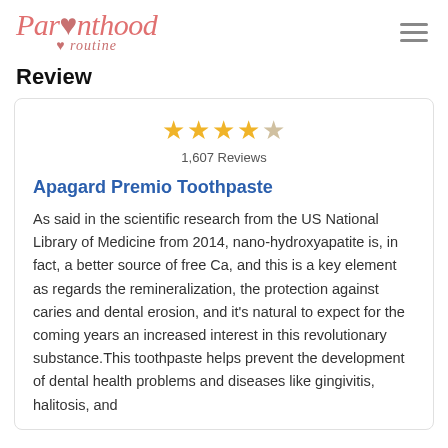Parenthood routine
Review
[Figure (other): 4.5 out of 5 stars rating icon]
1,607 Reviews
Apagard Premio Toothpaste
As said in the scientific research from the US National Library of Medicine from 2014, nano-hydroxyapatite is, in fact, a better source of free Ca, and this is a key element as regards the remineralization, the protection against caries and dental erosion, and it's natural to expect for the coming years an increased interest in this revolutionary substance.This toothpaste helps prevent the development of dental health problems and diseases like gingivitis, halitosis, and